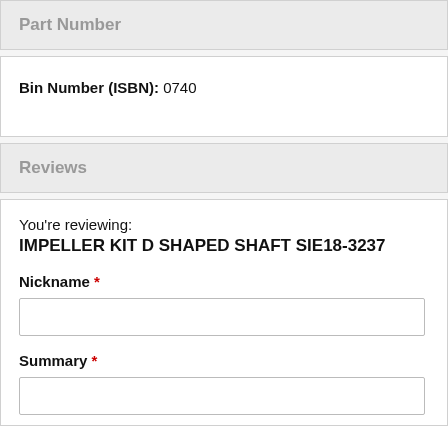Part Number
Bin Number (ISBN): 0740
Reviews
You're reviewing: IMPELLER KIT D SHAPED SHAFT SIE18-3237
Nickname *
Summary *